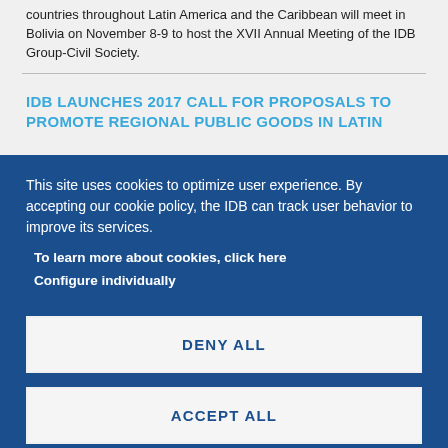Representatives of the civil society organizations from 26 countries throughout Latin America and the Caribbean will meet in Bolivia on November 8-9 to host the XVII Annual Meeting of the IDB Group-Civil Society.
IDB LAUNCHES 2017 CALL FOR PROPOSALS TO PROMOTE REGIONAL PUBLIC GOODS IN LATIN
This site uses cookies to optimize user experience. By accepting our cookie policy, the IDB can track user behavior to improve its services.
To learn more about cookies, click here
Configure individually
DENY ALL
ACCEPT ALL